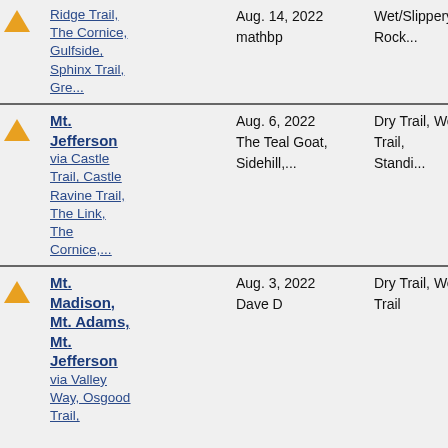|  | Trail | Date / User | Conditions |
| --- | --- | --- | --- |
| [icon] | Ridge Trail, The Cornice, Gulfside, Sphinx Trail, Gre... | Aug. 14, 2022
mathbp | Wet/Slippery Rock... |
| [icon] | Mt. Jefferson via Castle Trail, Castle Ravine Trail, The Link, The Cornice,... | Aug. 6, 2022
The Teal Goat, Sidehill,... | Dry Trail, Wet Trail, Standi... |
| [icon] | Mt. Madison, Mt. Adams, Mt. Jefferson via Valley Way, Osgood Trail, | Aug. 3, 2022
Dave D | Dry Trail, Wet Trail |